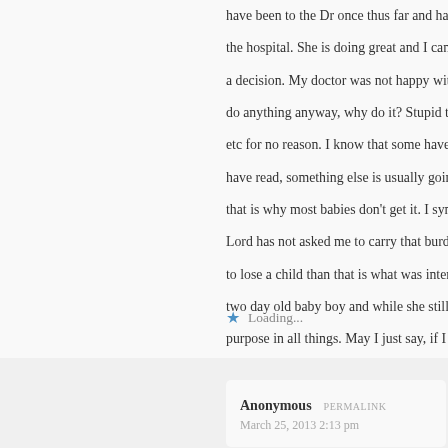have been to the Dr once thus far and had a home nurse come in after leaving the hospital. She is doing great and I can tell you, I would not have changed a decision. My doctor was not happy with our situation but if the drugs don't do anything anyway, why do it? Stupid to deal with all the issues, recovery etc for no reason. I know that some have lost children to Strep B but as I have read, something else is usually going on with a lowered immune system that is why most babies don't get it. I sympathize with them and am glad the Lord has not asked me to carry that burden but I have always believed that to lose a child than that is what was intended. I was taught that by a friend, two day old baby boy and while she still grieves at times, she believes in purpose in all things. May I just say, if I have offended anyone, I am doing what everyone else has done, expressing my beliefs and opinions. I hope and may God bless you.
Loading...
Anonymous PERMALINK
March 25, 2013 2:13 pm